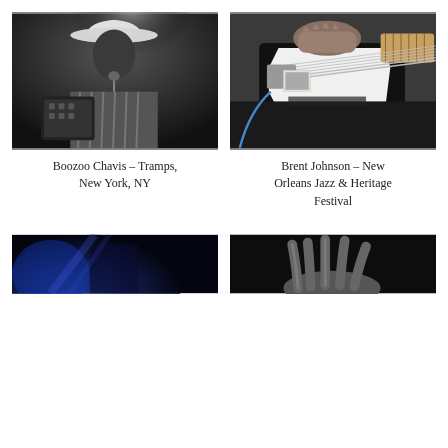[Figure (photo): Black and white photo of Boozoo Chavis playing accordion on stage, wearing a white cowboy hat and striped shirt]
[Figure (photo): Close-up photo of Brent Johnson's hands playing a black Stratocaster electric guitar with a photo tucked under the bridge]
Boozoo Chavis – Tramps, New York, NY
Brent Johnson – New Orleans Jazz & Heritage Festival
[Figure (photo): Partial photo of a performer under blue stage lights, bottom of page]
[Figure (photo): Partial photo of a hand with fingers splayed, dark background, bottom of page]